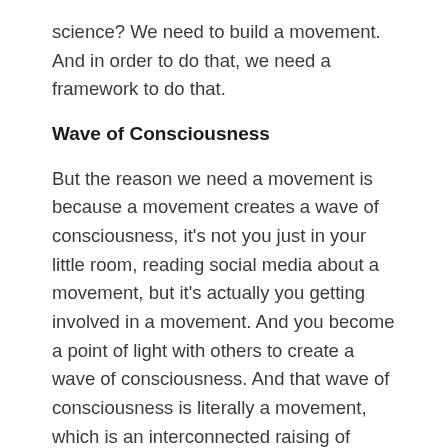science? We need to build a movement. And in order to do that, we need a framework to do that.
Wave of Consciousness
But the reason we need a movement is because a movement creates a wave of consciousness, it's not you just in your little room, reading social media about a movement, but it's actually you getting involved in a movement. And you become a point of light with others to create a wave of consciousness. And that wave of consciousness is literally a movement, which is an interconnected raising of consciousness of you and others. And that's what we need to do.
And I invite all of you to come on Thursdays, Open House, 11am or 8pm. Go to VASHIVA.com/orientation, and register there. We do these Orientations, you get to